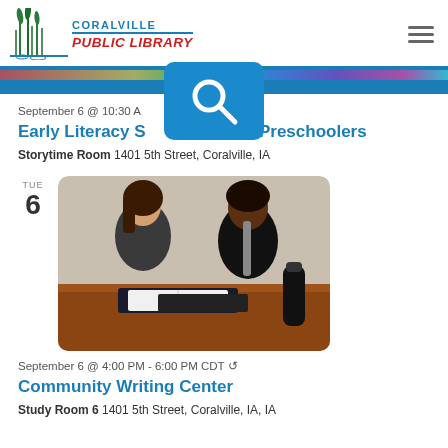Coralville Public Library
[Figure (photo): Coralville Public Library logo with reeds/grass icon, name in blue and red]
September 6 @ 10:30 AM – 11:30 AM CDT
Early Literacy Storytime for Preschoolers
Storytime Room 1401 5th Street, Coralville, IA
[Figure (photo): Two women sitting at a wooden table, one with a binder open, appearing to be in a tutoring or writing session]
September 6 @ 4:00 PM - 6:00 PM CDT
Community Writing Center
Study Room 6 1401 5th Street, Coralville, IA, IA